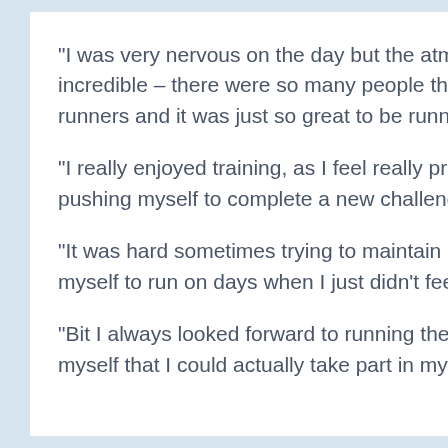“I was very nervous on the day but the atmosphere was incredible – there were so many people there to support all the runners and it was just so great to be running it myself.
“I really enjoyed training, as I feel really proud of myself for pushing myself to complete a new challenge.
“It was hard sometimes trying to maintain motivation and push myself to run on days when I just didn’t feel like it.
“Bit I always looked forward to running the race and proving to myself that I could actually take part in my first 10k.